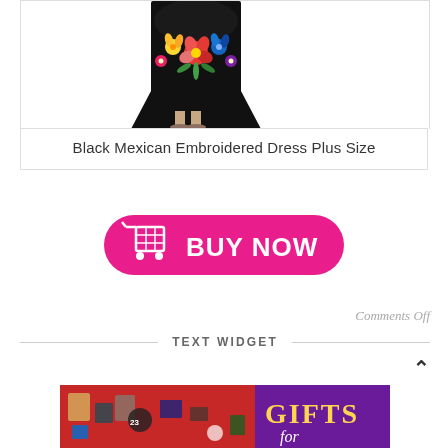[Figure (photo): Black Mexican embroidered dress with colorful floral embroidery shown on a model, cropped to show torso and feet with sandals]
Black Mexican Embroidered Dress Plus Size
[Figure (other): Hot pink BUY NOW button with shopping cart icon]
Comments Off
TEXT WIDGET
[Figure (photo): Gift banner showing various clothing items on red background and GIFTS for text on purple background]